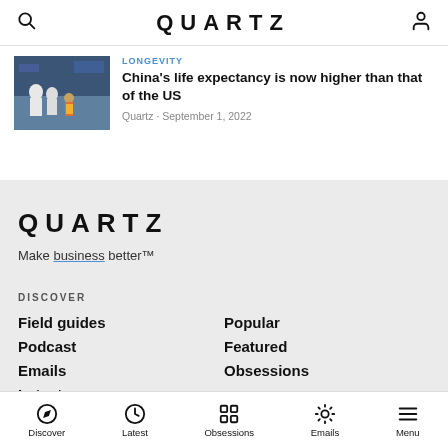QUARTZ
LONGEVITY
China's life expectancy is now higher than that of the US
Quartz · September 1, 2022
[Figure (photo): People in hazmat suits at an airport with travelers]
QUARTZ
Make business better™
DISCOVER
Field guides
Podcast
Emails
Latest
Popular
Featured
Obsessions
Discover  Latest  Obsessions  Emails  Menu